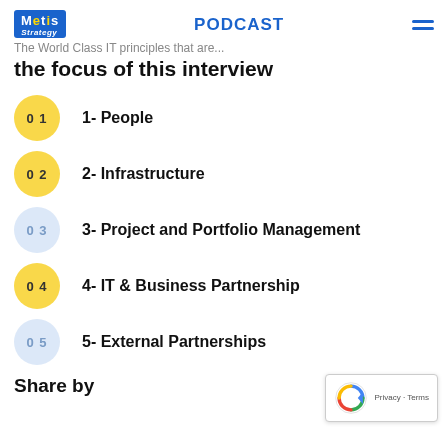Metis Strategy | PODCAST
the focus of this interview
1- People
2- Infrastructure
3- Project and Portfolio Management
4- IT & Business Partnership
5- External Partnerships
Share by